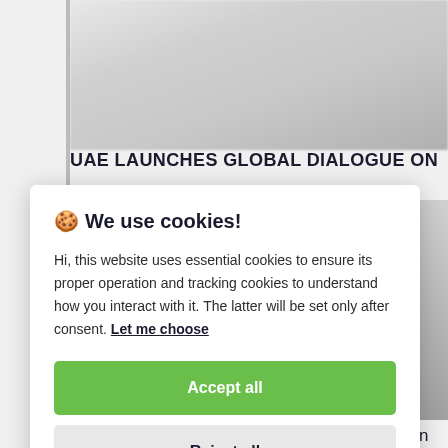[Figure (photo): Blurred background photo at top of webpage, light grey/white tones]
UAE LAUNCHES GLOBAL DIALOGUE ON
[Figure (screenshot): Cookie consent modal overlay with accept/reject buttons]
🍪 We use cookies!
Hi, this website uses essential cookies to ensure its proper operation and tracking cookies to understand how you interact with it. The latter will be set only after consent. Let me choose
Accept all
Reject all
Taliban's Celebration Of Anniversary Of Foreign